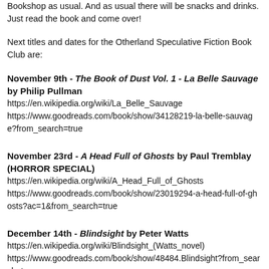Bookshop as usual. And as usual there will be snacks and drinks. Just read the book and come over!
Next titles and dates for the Otherland Speculative Fiction Book Club are:
November 9th - The Book of Dust Vol. 1 - La Belle Sauvage by Philip Pullman
https://en.wikipedia.org/wiki/La_Belle_Sauvage
https://www.goodreads.com/book/show/34128219-la-belle-sauvage?from_search=true
November 23rd - A Head Full of Ghosts by Paul Tremblay (HORROR SPECIAL)
https://en.wikipedia.org/wiki/A_Head_Full_of_Ghosts
https://www.goodreads.com/book/show/23019294-a-head-full-of-ghosts?ac=1&from_search=true
December 14th - Blindsight by Peter Watts
https://en.wikipedia.org/wiki/Blindsight_(Watts_novel)
https://www.goodreads.com/book/show/48484.Blindsight?from_search=true